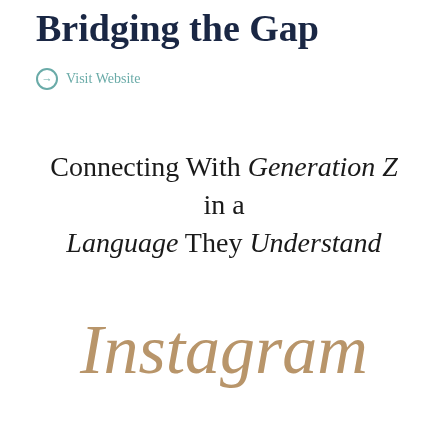Bridging the Gap
Visit Website
Connecting With Generation Z in a Language They Understand
[Figure (illustration): Instagram logo in cursive/script style text in golden-tan color]